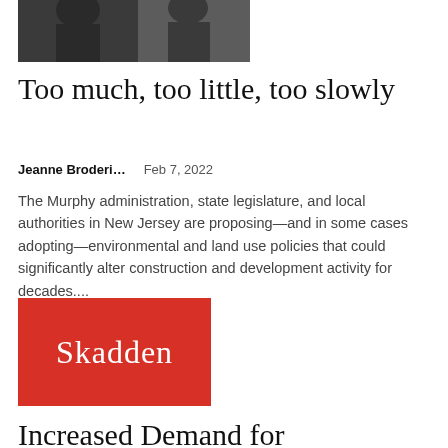[Figure (photo): Partial photo showing two people, cropped at top of page]
Too much, too little, too slowly
Jeanne Broderi…    Feb 7, 2022
The Murphy administration, state legislature, and local authorities in New Jersey are proposing—and in some cases adopting—environmental and land use policies that could significantly alter construction and development activity for decades....
[Figure (logo): Skadden logo — white serif text 'Skadden' on red square background]
Increased Demand for